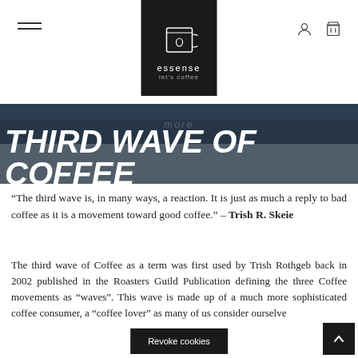[Figure (logo): Essense coffee brand logo in white on black square background, with coffee cup icon and text 'essense let's coffee']
more
THIRD WAVE OF COFFEE
“The third wave is, in many ways, a reaction. It is just as much a reply to bad coffee as it is a movement toward good coffee.” – Trish R. Skeie
The third wave of Coffee as a term was first used by Trish Rothgeb back in 2002 published in the Roasters Guild Publication defining the three Coffee movements as “waves”. This wave is made up of a much more sophisticated coffee consumer, a “coffee lover” as many of us consider ourselve